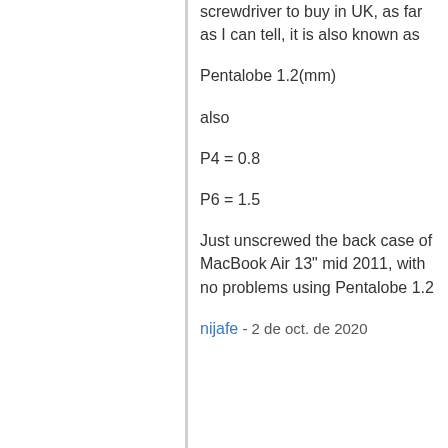screwdriver to buy in UK, as far as I can tell, it is also known as
Pentalobe 1.2(mm)
also
P4 = 0.8
P6 = 1.5
Just unscrewed the back case of MacBook Air 13" mid 2011, with no problems using Pentalobe 1.2
nijafe - 2 de oct. de 2020
I have not replaced a display on the A1369 but have done many A1466 which is a newer 13" model. They seem really similar and its not clear why one needs to remove the logic board to remove the display. The antenna cables on the A1466 dont have to rest under the logic board but can be tucked in the hinge crevice. Cant this same